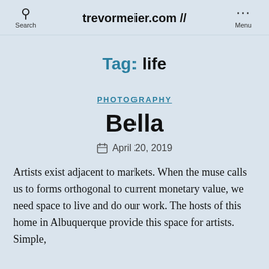trevormeier.com //
Tag: life
PHOTOGRAPHY
Bella
April 20, 2019
Artists exist adjacent to markets. When the muse calls us to forms orthogonal to current monetary value, we need space to live and do our work. The hosts of this home in Albuquerque provide this space for artists. Simple,